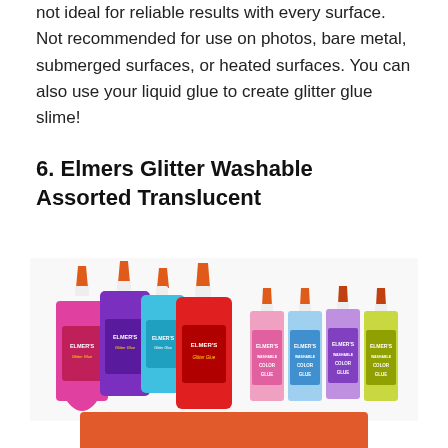not ideal for reliable results with every surface. Not recommended for use on photos, bare metal, submerged surfaces, or heated surfaces. You can also use your liquid glue to create glitter glue slime!
6. Elmers Glitter Washable Assorted Translucent
[Figure (photo): Photo showing Elmer's Glitter Glue bottles in assorted colors (pink, purple, blue, red) on the left, and four smaller Elmer's Washable Color Glue bottles (pink, blue, purple, green) on the right.]